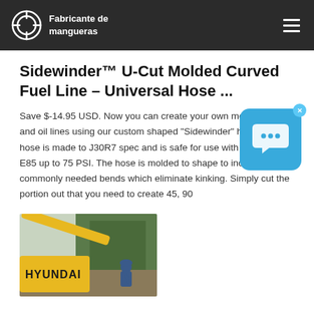Fabricante de mangueras
Sidewinder™ U-Cut Molded Curved Fuel Line - Universal Hose ...
Save $-14.95 USD. Now you can create your own molded fuel and oil lines using our custom shaped "Sidewinder" hoses. This hose is made to J30R7 spec and is safe for use with gasoline or E85 up to 75 PSI. The hose is molded to shape to include commonly needed bends which eliminate kinking. Simply cut the portion out that you need to create 45, 90
[Figure (photo): Hyundai excavator with worker, outdoor scene]